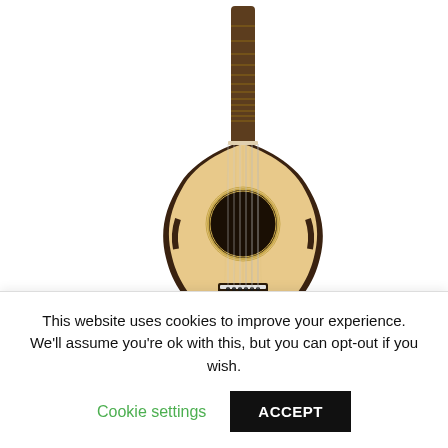[Figure (photo): Acoustic guitar (Washburn WD20S) shown from the front against a white background. The guitar has a natural-colored spruce top, dark brown sides and back, a round soundhole, and a black bridge with tuning strings visible.]
Washburn WD20 Series WD20S has a solid Alaskan
This website uses cookies to improve your experience. We'll assume you're ok with this, but you can opt-out if you wish.
Cookie settings
ACCEPT